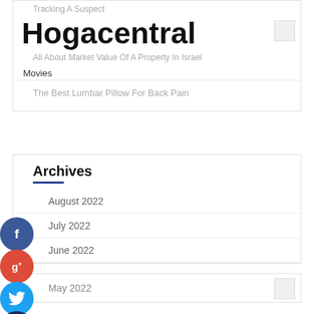Tracking A Suspect
Hogacentral
All About Market Value Of A Property In Israel
Movies
The Best Lumbar Pillow For Back Pain
Archives
August 2022
July 2022
June 2022
May 2022